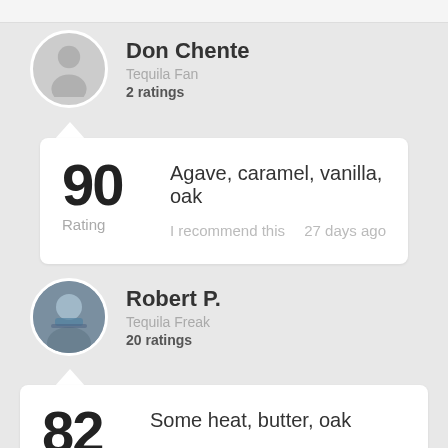[Figure (screenshot): User review card for Don Chente, Tequila Fan, 2 ratings. Rating 90. Flavors: Agave, caramel, vanilla, oak. I recommend this. 27 days ago.]
Don Chente
Tequila Fan
2 ratings
90
Rating
Agave, caramel, vanilla, oak
I recommend this
27 days ago
[Figure (screenshot): User review card for Robert P., Tequila Freak, 20 ratings. Rating 82. Flavors: Some heat, butter, oak. I recommend this. 27 days ago.]
Robert P.
Tequila Freak
20 ratings
82
Rating
Some heat, butter, oak
I recommend this
27 days ago